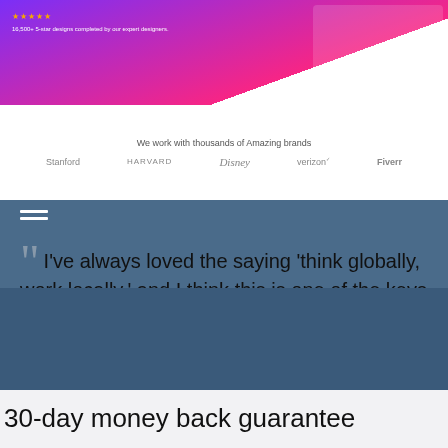[Figure (screenshot): Screenshot of a design services website with purple/pink gradient header, star rating, brand logos (Stanford, Harvard, Disney, Verizon, Fiverr) and tagline 'We work with thousands of Amazing brands']
❝  I've always loved the saying 'think globally, work locally,' and I think this is one of the keys to growing a business.  ❞
Eddie Deva, PixelBull.com
Read the story →
Our Promise To You
30-day money back guarantee